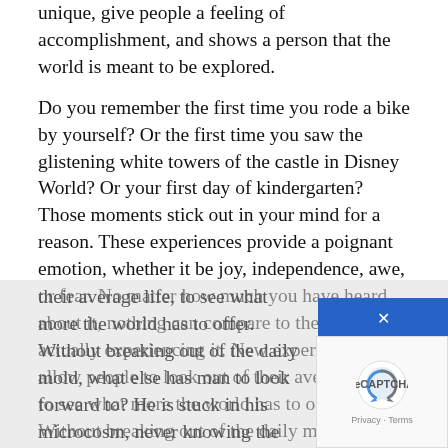unique, give people a feeling of accomplishment, and shows a person that the world is meant to be explored.
Do you remember the first time you rode a bike by yourself? Or the first time you saw the glistening white towers of the castle in Disney World? Or your first day of kindergarten? Those moments stick out in your mind for a reason. These experiences provide a poignant emotion, whether it be joy, independence, awe, or fear. No matter how much you have heard about it, nothing can compare to the emotion of actually experiencing it. New experiences allow people to look out of their average life, to see what more the world has to offer. Without breaking out of the daily mold, what else has man to look forward to? He is stuck in his microcosm, never knowing the outside world.